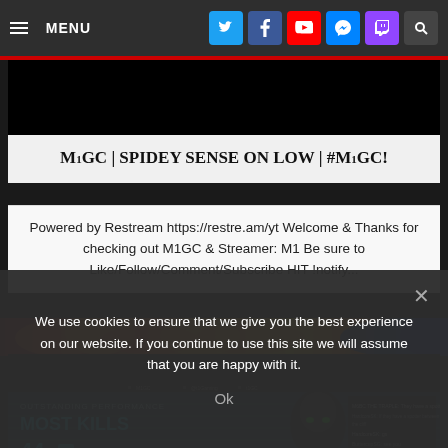MENU
M1GC | SPIDEY SENSE ON LOW | #M1GC!
Powered by Restream https://restre.am/yt Welcome & Thanks for checking out M1GC & Streamer: M1 Be sure to Like/Follow/Comment/Subscribe HIT !notify...
[Figure (screenshot): Game screenshot showing OUTSTANDING PERFORMANCE - MOST KILLS 44 with a hooded character and chat overlay]
We use cookies to ensure that we give you the best experience on our website. If you continue to use this site we will assume that you are happy with it.
Ok